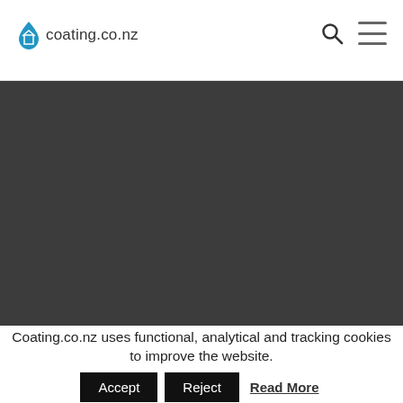coating.co.nz
[Figure (photo): Dark gray/charcoal background image area, content not visible]
Coating.co.nz uses functional, analytical and tracking cookies to improve the website.
Accept  Reject  Read More